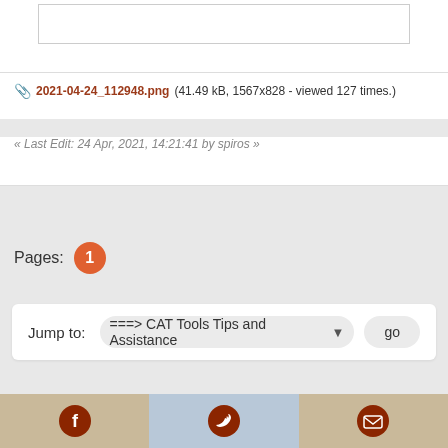[Figure (screenshot): Top portion of white card with image placeholder (cropped screenshot area)]
2021-04-24_112948.png (41.49 kB, 1567x828 - viewed 127 times.)
« Last Edit: 24 Apr, 2021, 14:21:41 by spiros »
[Figure (other): Printer icon in gray section]
Pages: 1
Jump to: ===> CAT Tools Tips and Assistance  go
[Figure (other): Footer bar with Facebook, Twitter, and email icons]